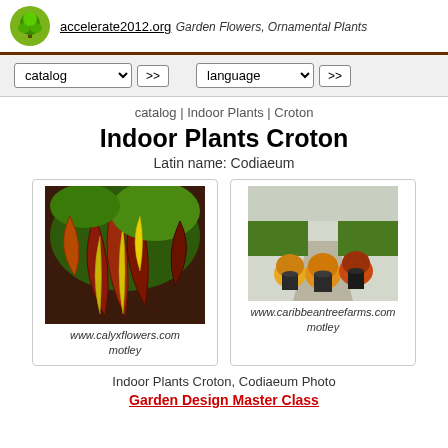accelerate2012.org Garden Flowers, Ornamental Plants
catalog >> language >>
catalog | Indoor Plants | Croton
Indoor Plants Croton
Latin name: Codiaeum
[Figure (photo): Croton plant with colorful red, yellow and green leaves - www.calyxflowers.com motley]
[Figure (photo): Three potted croton plants in black pots on a path - www.caribbeantreefarms.com motley]
Indoor Plants Croton, Codiaeum Photo
Garden Design Master Class